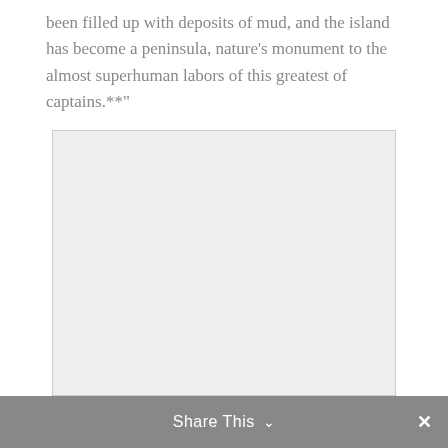been filled up with deposits of mud, and the island has become a peninsula, nature's monument to the almost superhuman labors of this greatest of captains.**"
[Figure (other): A large light gray rectangular placeholder image area with a thin border.]
Share This ∨  ✕